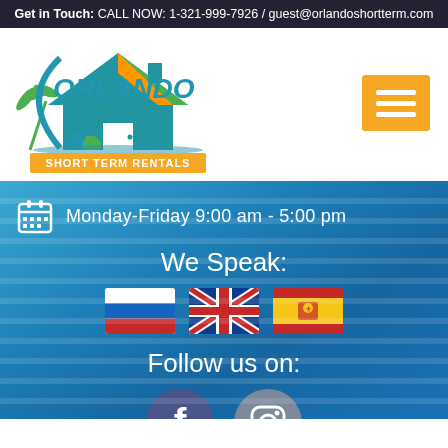Get in Touch: CALL NOW: 1-321-999-7926 / guest@orlandoshortterm.com
[Figure (logo): Orlando Short Term Rentals logo with house, palm trees, and beach chairs]
[Figure (other): Orange hamburger menu button with three white lines]
Monday-Friday 9:00 am - 5:00 pm
We Speak:
[Figure (illustration): Three flags: Russian flag, UK flag, Spanish flag]
Follow us on:
[Figure (illustration): Facebook and Instagram social media icons as circular buttons]